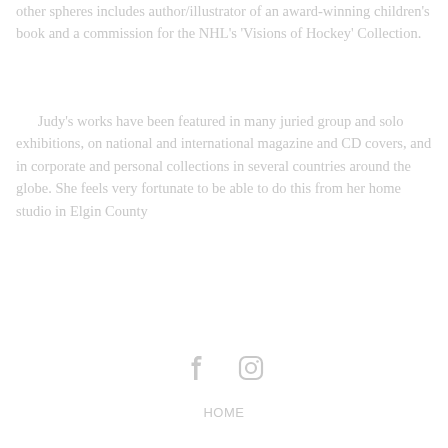other spheres includes author/illustrator of an award-winning children's book and a commission for the NHL's 'Visions of Hockey' Collection.
Judy's works have been featured in many juried group and solo exhibitions, on national and international magazine and CD covers, and in corporate and personal collections in several countries around the globe. She feels very fortunate to be able to do this from her home studio in Elgin County
[Figure (other): Social media icons: Facebook and Instagram]
HOME